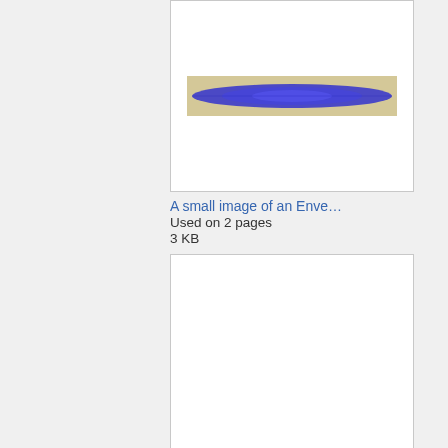[Figure (screenshot): Thumbnail of a small image of an Envelope - shows a waveform/audio visualization in blue on a beige background]
A small image of an Enve…
Used on 2 pages
3 KB
[Figure (screenshot): Blank white thumbnail box for Selected audio - for Tour item]
Selected audio - for Tour …
Used on 2 pages
5 KB
[Figure (screenshot): Partial blank white thumbnail box at bottom of page]